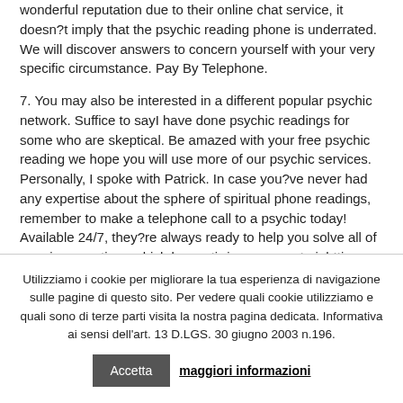wonderful reputation due to their online chat service, it doesn't imply that the psychic reading phone is underrated. We will discover answers to concern yourself with your very specific circumstance. Pay By Telephone.
7. You may also be interested in a different popular psychic network. Suffice to sayI have done psychic readings for some who are skeptical. Be amazed with your free psychic reading we hope you will use more of our psychic services. Personally, I spoke with Patrick. In case you?ve never had any expertise about the sphere of spiritual phone readings, remember to make a telephone call to a psychic today! Available 24/7, they?re always ready to help you solve all of nagging questions which keep stirring you up at nighttime.
Utilizziamo i cookie per migliorare la tua esperienza di navigazione sulle pagine di questo sito. Per vedere quali cookie utilizziamo e quali sono di terze parti visita la nostra pagina dedicata. Informativa ai sensi dell'art. 13 D.LGS. 30 giugno 2003 n.196. Accetta maggiori informazioni